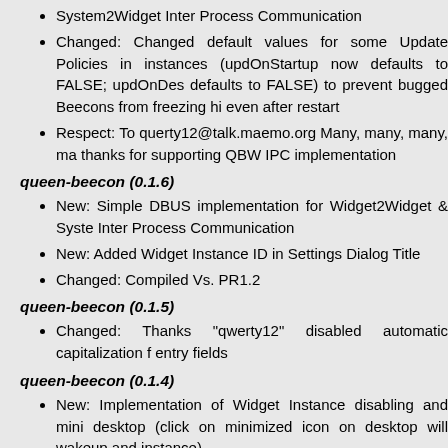System2Widget Inter Process Communication
Changed: Changed default values for some Update Policies in instances (updOnStartup now defaults to FALSE; updOnDes defaults to FALSE) to prevent bugged Beecons from freezing hi even after restart
Respect: To querty12@talk.maemo.org Many, many, many, ma thanks for supporting QBW IPC implementation
queen-beecon (0.1.6)
New: Simple DBUS implementation for Widget2Widget & Syste Inter Process Communication
New: Added Widget Instance ID in Settings Dialog Title
Changed: Compiled Vs. PR1.2
queen-beecon (0.1.5)
Changed: Thanks "qwerty12" disabled automatic capitalization f entry fields
queen-beecon (0.1.4)
New: Implementation of Widget Instance disabling and mini desktop (click on minimized icon on desktop will wakeup and instance)
New: Implementation of image/icon scaling function for all i